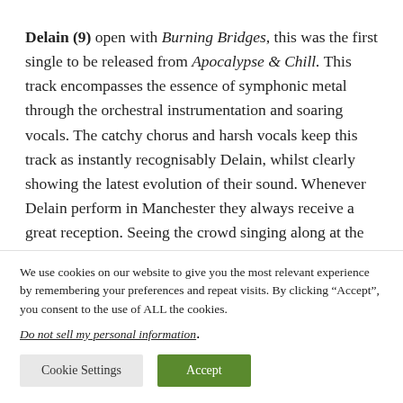Delain (9) open with Burning Bridges, this was the first single to be released from Apocalypse & Chill. This track encompasses the essence of symphonic metal through the orchestral instrumentation and soaring vocals. The catchy chorus and harsh vocals keep this track as instantly recognisably Delain, whilst clearly showing the latest evolution of their sound. Whenever Delain perform in Manchester they always receive a great reception. Seeing the crowd singing along at the first track of their
We use cookies on our website to give you the most relevant experience by remembering your preferences and repeat visits. By clicking “Accept”, you consent to the use of ALL the cookies.
Do not sell my personal information.